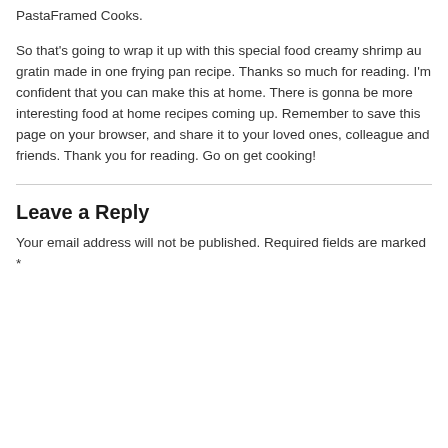PastaFramed Cooks.
So that's going to wrap it up with this special food creamy shrimp au gratin made in one frying pan recipe. Thanks so much for reading. I'm confident that you can make this at home. There is gonna be more interesting food at home recipes coming up. Remember to save this page on your browser, and share it to your loved ones, colleague and friends. Thank you for reading. Go on get cooking!
Leave a Reply
Your email address will not be published. Required fields are marked *